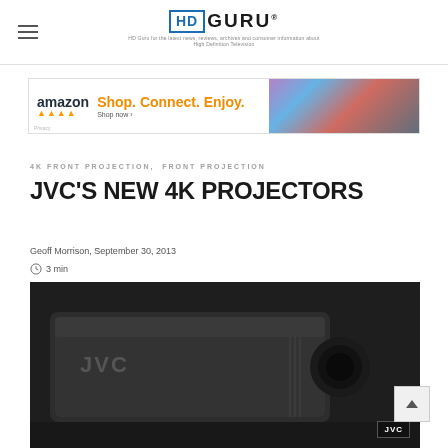HD GURU - HD Guru for the latest news, reviews, archives and consumer information about High Definition Television
[Figure (other): Amazon advertisement banner: 'Shop. Connect. Enjoy.' with products shown on right side]
4K FRONT PROJECTION, FRONT PROJECTION
JVC'S NEW 4K PROJECTORS
Geoff Morrison, September 30, 2013
3 min
[Figure (photo): Photo of JVC 4K projector, dark/black unit shown from above/side angle]